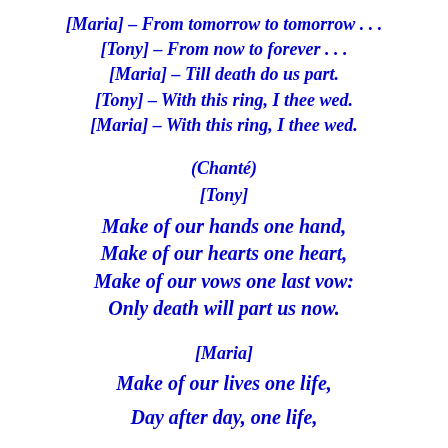[Maria] – From tomorrow to tomorrow . . .
[Tony] – From now to forever . . .
[Maria] – Till death do us part.
[Tony] – With this ring, I thee wed.
[Maria] – With this ring, I thee wed.
(Chanté)
[Tony]
Make of our hands one hand,
Make of our hearts one heart,
Make of our vows one last vow:
Only death will part us now.
[Maria]
Make of our lives one life,
Day after day, one life,